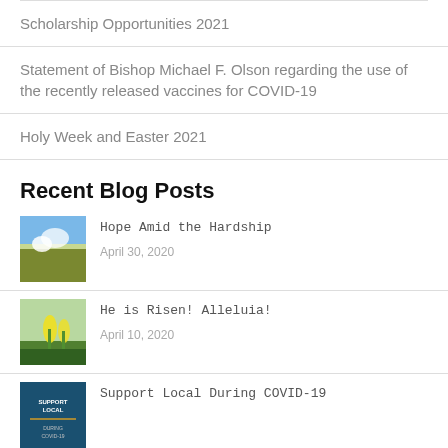Scholarship Opportunities 2021
Statement of Bishop Michael F. Olson regarding the use of the recently released vaccines for COVID-19
Holy Week and Easter 2021
Recent Blog Posts
Hope Amid the Hardship
April 30, 2020
He is Risen! Alleluia!
April 10, 2020
Support Local During COVID-19